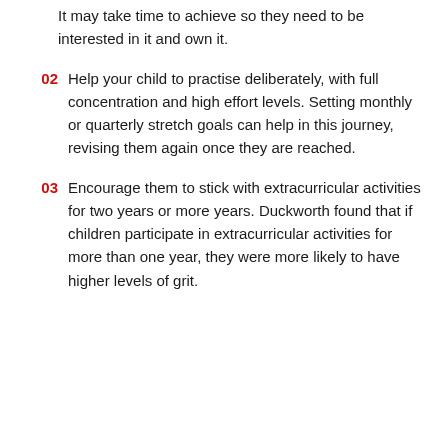It may take time to achieve so they need to be interested in it and own it.
02 Help your child to practise deliberately, with full concentration and high effort levels. Setting monthly or quarterly stretch goals can help in this journey, revising them again once they are reached.
03 Encourage them to stick with extracurricular activities for two years or more years. Duckworth found that if children participate in extracurricular activities for more than one year, they were more likely to have higher levels of grit.